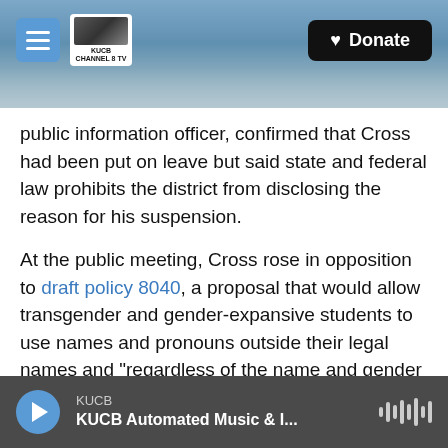[Figure (screenshot): KUCB news website header with snowy mountain background, hamburger menu button, KUCB Channel 8 TV logo, and Donate button]
public information officer, confirmed that Cross had been put on leave but said state and federal law prohibits the district from disclosing the reason for his suspension.
At the public meeting, Cross rose in opposition to draft policy 8040, a proposal that would allow transgender and gender-expansive students to use names and pronouns outside their legal names and "regardless of the name and gender recorded in the student's permanent educational record."
School staff would be required to use names
KUCB
KUCB Automated Music & I...